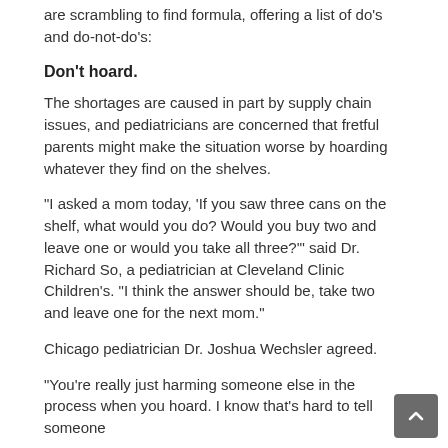are scrambling to find formula, offering a list of do's and do-not-do's:
Don't hoard.
The shortages are caused in part by supply chain issues, and pediatricians are concerned that fretful parents might make the situation worse by hoarding whatever they find on the shelves.
"I asked a mom today, 'If you saw three cans on the shelf, what would you do? Would you buy two and leave one or would you take all three?'" said Dr. Richard So, a pediatrician at Cleveland Clinic Children's. "I think the answer should be, take two and leave one for the next mom."
Chicago pediatrician Dr. Joshua Wechsler agreed.
"You're really just harming someone else in the process when you hoard. I know that's hard to tell someone